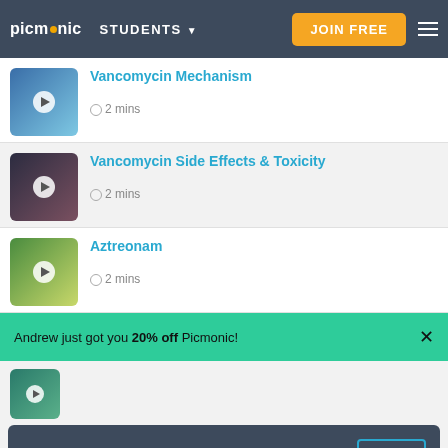picmonic STUDENTS JOIN FREE
Vancomycin Mechanism - 2 mins
Vancomycin Side Effects & Toxicity - 2 mins
Aztreonam - 2 mins
Andrew just got you 20% off Picmonic!
I accept the Cookie Policy. OK